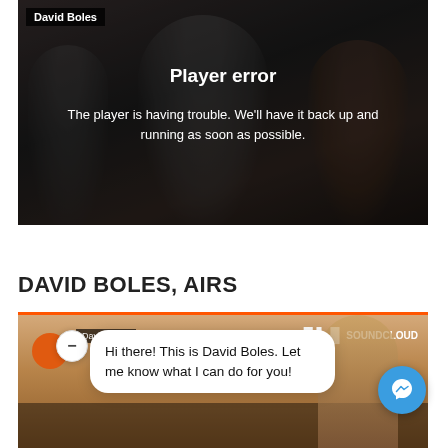[Figure (screenshot): Video player with dark overlay showing Player error message. Name badge 'David Boles' in top left corner.]
Player error
The player is having trouble. We'll have it back up and running as soon as possible.
DAVID BOLES, AIRS
[Figure (screenshot): SoundCloud widget with David Boles branding and orange bar at top]
Hi there! This is David Boles. Let me know what I can do for you!